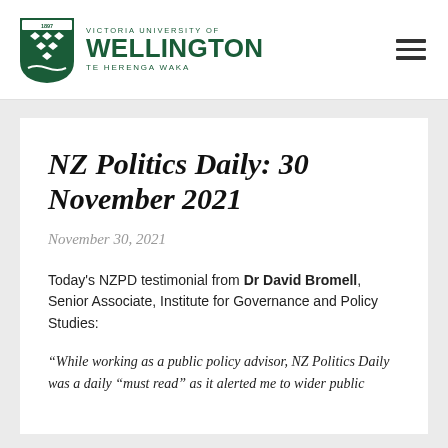[Figure (logo): Victoria University of Wellington Te Herenga Waka shield logo and wordmark in dark green]
NZ Politics Daily: 30 November 2021
November 30, 2021
Today's NZPD testimonial from Dr David Bromell, Senior Associate, Institute for Governance and Policy Studies:
“While working as a public policy advisor, NZ Politics Daily was a daily “must read” as it alerted me to wider public